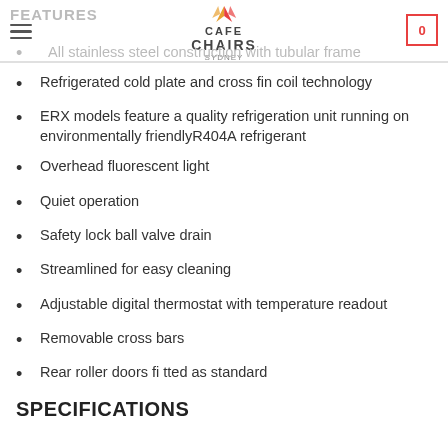FEATURES — Cafe Chairs Sydney — Cart: 0
All stainless steel construction with tubular frame
Refrigerated cold plate and cross fin coil technology
ERX models feature a quality refrigeration unit running on environmentally friendlyR404A refrigerant
Overhead fluorescent light
Quiet operation
Safety lock ball valve drain
Streamlined for easy cleaning
Adjustable digital thermostat with temperature readout
Removable cross bars
Rear roller doors fi tted as standard
SPECIFICATIONS